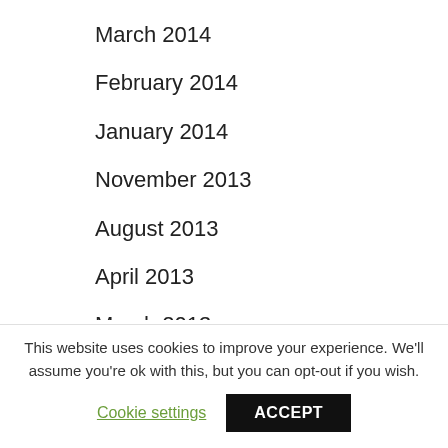March 2014
February 2014
January 2014
November 2013
August 2013
April 2013
March 2013
January 2013
December 2012
November 2012
This website uses cookies to improve your experience. We'll assume you're ok with this, but you can opt-out if you wish.
Cookie settings | ACCEPT